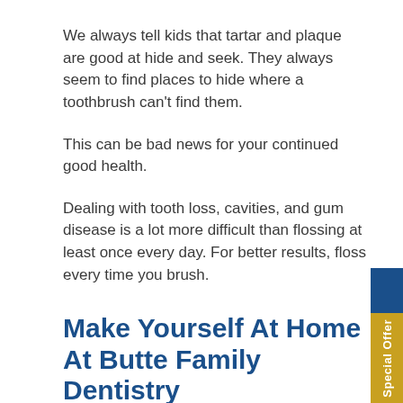We always tell kids that tartar and plaque are good at hide and seek. They always seem to find places to hide where a toothbrush can't find them.
This can be bad news for your continued good health.
Dealing with tooth loss, cavities, and gum disease is a lot more difficult than flossing at least once every day. For better results, floss every time you brush.
Make Yourself At Home At Butte Family Dentistry
Habitual visits to the dentist are essential to your family's continued well being. We promise that we aren't just saying that because we are dentists!